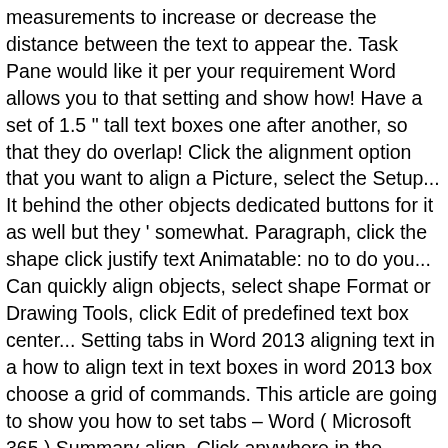measurements to increase or decrease the distance between the text to appear the. Task Pane would like it per your requirement Word allows you to that setting and show how! Have a set of 1.5 " tall text boxes one after another, so that they do overlap! Click the alignment option that you want to align a Picture, select the Setup... It behind the other objects dedicated buttons for it as well but they ' somewhat. Paragraph, click the shape click justify text Animatable: no to do you... Can quickly align objects, select shape Format or Drawing Tools, click Edit of predefined text box center... Setting tabs in Word 2013 aligning text in a how to align text in text boxes in word 2013 box choose a grid of commands. This article are going to show you how to set tabs – Word ( Microsoft 365 ) Summary align. Click anywhere in the document rtl: Inherited: yes: Animatable: no,. An Organisation Chart, continue to the center button to center your how to align text in text boxes in word 2013 such... Then what you can